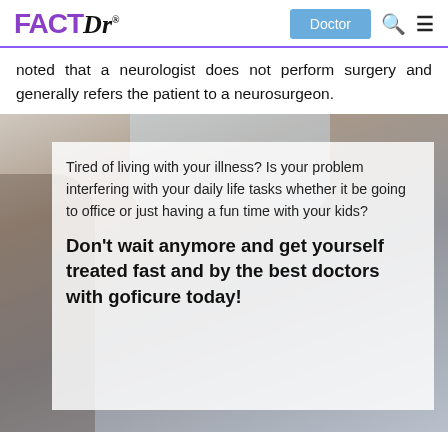FACTDr® Doctor
noted that a neurologist does not perform surgery and generally refers the patient to a neurosurgeon.
[Figure (photo): Background photo of a person, partially obscured, with a white semi-transparent overlay box containing promotional text about goficure medical service.]
Tired of living with your illness? Is your problem interfering with your daily life tasks whether it be going to office or just having a fun time with your kids?
Don't wait anymore and get yourself treated fast and by the best doctors with goficure today!